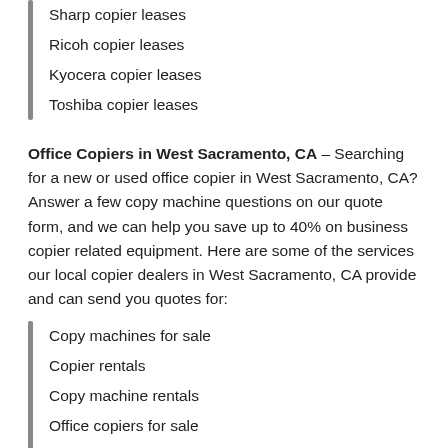Sharp copier leases
Ricoh copier leases
Kyocera copier leases
Toshiba copier leases
Office Copiers in West Sacramento, CA – Searching for a new or used office copier in West Sacramento, CA? Answer a few copy machine questions on our quote form, and we can help you save up to 40% on business copier related equipment. Here are some of the services our local copier dealers in West Sacramento, CA provide and can send you quotes for:
Copy machines for sale
Copier rentals
Copy machine rentals
Office copiers for sale
Copier sales